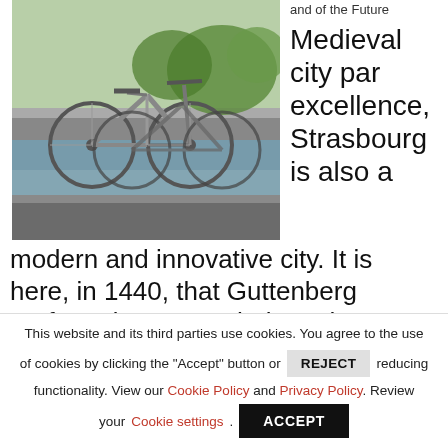[Figure (photo): Bicycles parked along a canal in Strasbourg, with a bridge and tree-lined waterway visible in the background.]
and of the Future
Medieval city par excellence, Strasbourg is also a modern and innovative city. It is here, in 1440, that Guttenberg perfected a new technique that would revolutionize the means of communications: printing. Immediately after the war, in 1949, when the
This website and its third parties use cookies. You agree to the use of cookies by clicking the "Accept" button or REJECT reducing functionality. View our Cookie Policy and Privacy Policy. Review your Cookie settings. ACCEPT